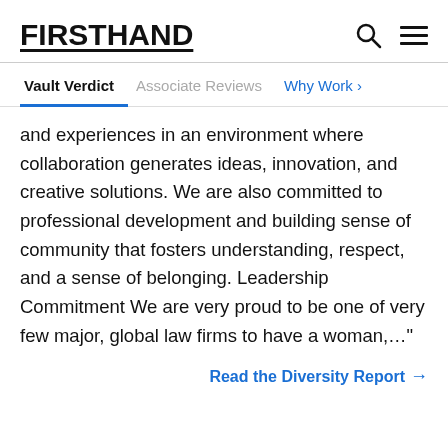FIRSTHAND
Vault Verdict | Associate Reviews | Why Work >
and experiences in an environment where collaboration generates ideas, innovation, and creative solutions. We are also committed to professional development and building sense of community that fosters understanding, respect, and a sense of belonging. Leadership Commitment We are very proud to be one of very few major, global law firms to have a woman,…"
Read the Diversity Report →